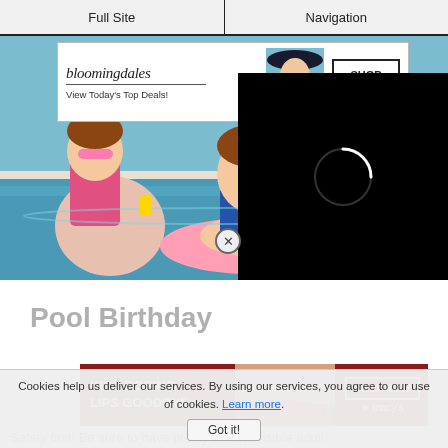Full Site | Navigation
[Figure (screenshot): Advertisement banner for Bloomingdales showing logo, 'View Today's Top Deals!' text, a woman in a sun hat, and a 'SHOP NOW >' button]
[Figure (photo): Children and adults in a swimming pool wearing swimsuits and sunglasses, holding drinks, having a pool party birthday celebration]
[Figure (screenshot): Black video loading overlay with white circular loading spinner in the center]
Pool Birthday
[Figure (screenshot): Macy's advertisement: 'KISS BORING LIPS GOODBYE' with a woman's face showing red lips, and 'SHOP NOW' button with Macy's star logo]
Safety first! Be sure to have plenty of responsible adult
Cookies help us deliver our services. By using our services, you agree to our use of cookies. Learn more. Got it!